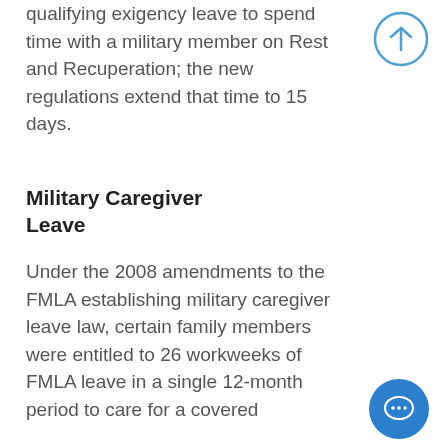qualifying exigency leave to spend time with a military member on Rest and Recuperation; the new regulations extend that time to 15 days.
Military Caregiver Leave
Under the 2008 amendments to the FMLA establishing military caregiver leave law, certain family members were entitled to 26 workweeks of FMLA leave in a single 12-month period to care for a covered